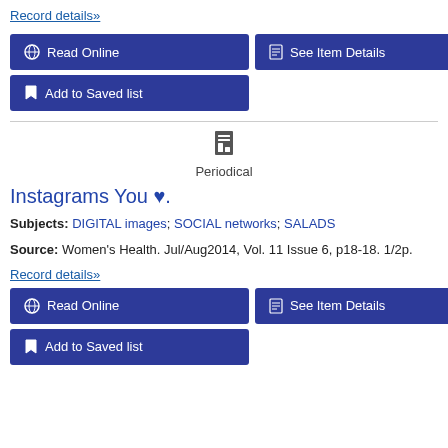Record details»
Read Online
See Item Details
Add to Saved list
Periodical
Instagrams You ♥.
Subjects: DIGITAL images; SOCIAL networks; SALADS
Source: Women's Health. Jul/Aug2014, Vol. 11 Issue 6, p18-18. 1/2p.
Record details»
Read Online
See Item Details
Add to Saved list